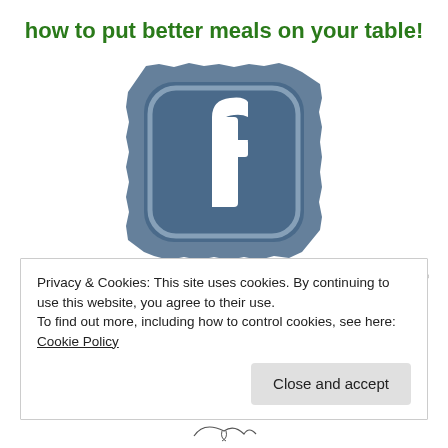how to put better meals on your table!
[Figure (logo): Facebook logo icon styled with a denim/textured blue background and white Facebook 'f' lettermark inside a rounded square]
REPORT THIS AD
Privacy & Cookies: This site uses cookies. By continuing to use this website, you agree to their use.
To find out more, including how to control cookies, see here: Cookie Policy
Close and accept